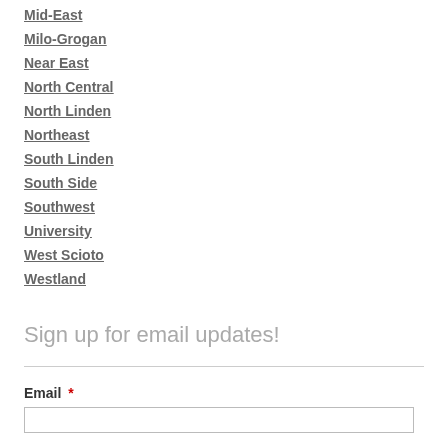Mid-East
Milo-Grogan
Near East
North Central
North Linden
Northeast
South Linden
South Side
Southwest
University
West Scioto
Westland
Sign up for email updates!
Email *